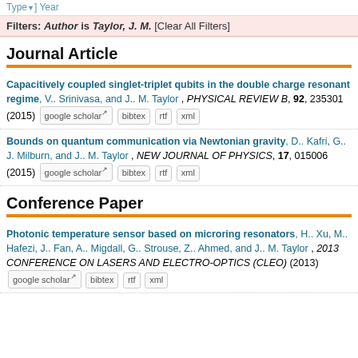Type ▾] Year
Filters: Author is Taylor, J. M. [Clear All Filters]
Journal Article
Capacitively coupled singlet-triplet qubits in the double charge resonant regime, V.. Srinivasa, and J.. M. Taylor , PHYSICAL REVIEW B, 92, 235301 (2015)
Bounds on quantum communication via Newtonian gravity, D.. Kafri, G.. J. Milburn, and J.. M. Taylor , NEW JOURNAL OF PHYSICS, 17, 015006 (2015)
Conference Paper
Photonic temperature sensor based on microring resonators, H.. Xu, M.. Hafezi, J.. Fan, A.. Migdall, G.. Strouse, Z.. Ahmed, and J.. M. Taylor , 2013 CONFERENCE ON LASERS AND ELECTRO-OPTICS (CLEO) (2013)